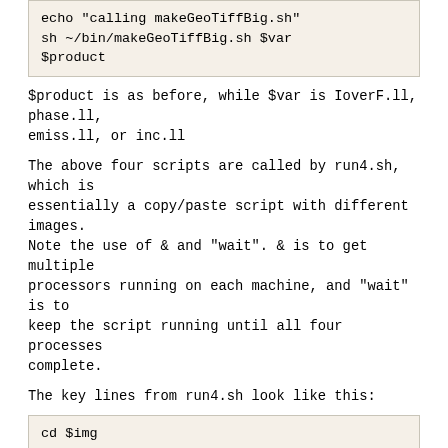echo "calling makeGeoTiffBig.sh"
sh ~/bin/makeGeoTiffBig.sh $var
$product
$product is as before, while $var is IoverF.ll, phase.ll, emiss.ll, or inc.ll
The above four scripts are called by run4.sh, which is essentially a copy/paste script with different images. Note the use of & and "wait". & is to get multiple processors running on each machine, and "wait" is to keep the script running until all four processes complete.
The key lines from run4.sh look like this:
cd $img
sh ~/bin/makeIoverFGeoBig.sh $img &
sh ~/bin/makePhaseGeoBig.sh $img &
sh ~/bin/makeEmissGeoBig.sh $img &
sh ~/bin/makeIncGeoBig.sh $img &
cd ..

wait